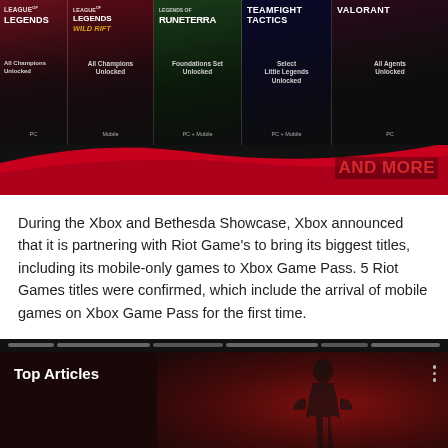[Figure (screenshot): Xbox Game Pass promotional banner showing Riot Games titles: League of Legends, League of Legends Wild Rift, Legends of Runeterra, Teamfight Tactics, and Valorant, each with unlock benefits listed, with 'AND MORE' text on lower right]
During the Xbox and Bethesda Showcase, Xbox announced that it is partnering with Riot Game's to bring its biggest titles, including its mobile-only games to Xbox Game Pass. 5 Riot Games titles were confirmed, which include the arrival of mobile games on Xbox Game Pass for the first time.
[Figure (screenshot): Partial screenshot of a 'Top Articles' section with a dark red background showing a silhouetted figure, navigation tabs at top, and a three-dot menu icon]